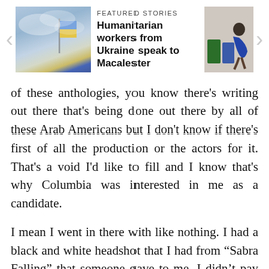[Figure (screenshot): Page header with navigation arrows, a Ukraine flag photo, featured stories label and headline 'Humanitarian workers from Ukraine speak to Macalester', and a right-side thumbnail photo]
of these anthologies, you know there's writing out there that's being done out there by all of these Arab Americans but I don't know if there's first of all the production or the actors for it. That's a void I'd like to fill and I know that's why Columbia was interested in me as a candidate.
I mean I went in there with like nothing. I had a black and white headshot that I had from “Sabra Falling” that someone gave to me, I didn’t pay for a headshot. I’m not a theater major. I had one professional production outside of Macalester that I’d done. The people I was going against were 27 years old. They were actors, t had agents, they’d been working in New York f